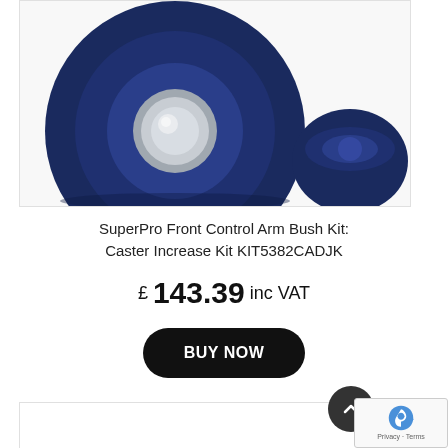[Figure (photo): Close-up photo of dark navy blue rubber bushes/bushings for a car suspension control arm. The main bush has a circular shape with a silver metal center insert visible from the front. A second smaller bush component is visible to the right. White background.]
SuperPro Front Control Arm Bush Kit: Caster Increase Kit KIT5382CADJK
£ 143.39 inc VAT
BUY NOW